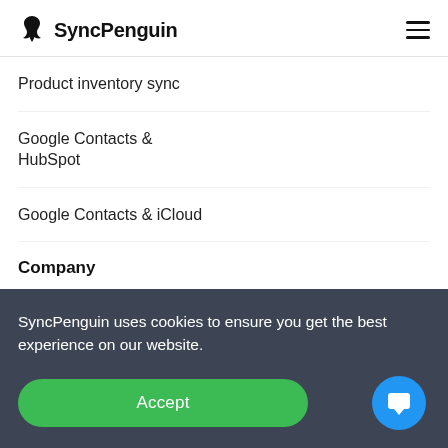SyncPenguin
Product inventory sync
Google Contacts & HubSpot
Google Contacts & iCloud
Company
Contact us
Partnershi...
SyncPenguin uses cookies to ensure you get the best experience on our website.
Accept